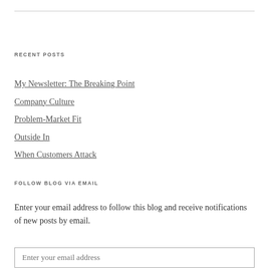RECENT POSTS
My Newsletter: The Breaking Point
Company Culture
Problem-Market Fit
Outside In
When Customers Attack
FOLLOW BLOG VIA EMAIL
Enter your email address to follow this blog and receive notifications of new posts by email.
Enter your email address